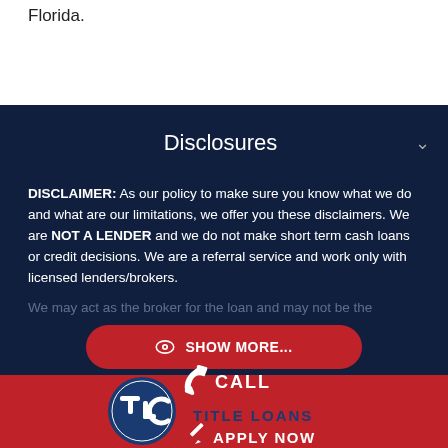Florida.
Disclosures
DISCLAIMER: As our policy to make sure you know what we do and what are our limitations, we offer you these disclaimers. We are NOT A LENDER and we do not make short term cash loans or credit decisions. We are a referral service and work only with licensed lenders/brokers.
We may act as the broker for the loan and may not be the
SHOW MORE...
[Figure (logo): TLC Title Loans logo with blue circle emblem, phone icon with CALL text, TITLE LOANS text, and APPLY NOW text on red background]